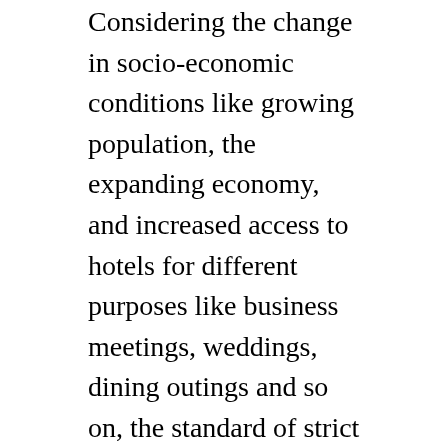Considering the change in socio-economic conditions like growing population, the expanding economy, and increased access to hotels for different purposes like business meetings, weddings, dining outings and so on, the standard of strict liability on the innkeeper places a heavy burden. Thus, a “relatively moderate approach” should be adopted, and the prima facie rule “strikes the balance without placing an undue burden on either of the parties”.
The Court went on to hold that, as a consequence of India following a prima facie liability approach, the relation between a hotel owner and a guest is governed by the laws of